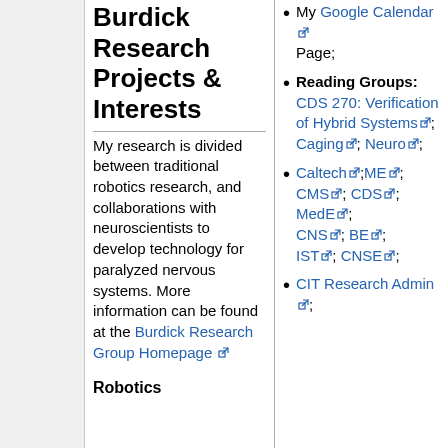Burdick Research Projects & Interests
My research is divided between traditional robotics research, and collaborations with neuroscientists to develop technology for paralyzed nervous systems. More information can be found at the Burdick Research Group Homepage
My Google Calendar Page;
Reading Groups: CDS 270: Verification of Hybrid Systems; Caging; Neuro;
Caltech; ME; CMS; CDS; MedE; CNS; BE; IST; CNSE;
CIT Research Admin;
Robotics